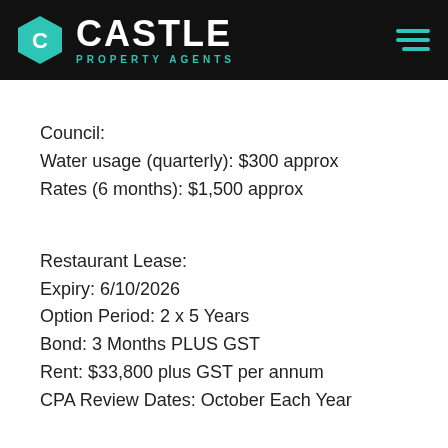[Figure (logo): Castle Property Agents logo with teal hexagon icon and white/teal text on black header bar with hamburger menu icon]
Council:
Water usage (quarterly): $300 approx
Rates (6 months): $1,500 approx
Restaurant Lease:
Expiry: 6/10/2026
Option Period: 2 x 5 Years
Bond: 3 Months PLUS GST
Rent: $33,800 plus GST per annum
CPA Review Dates: October Each Year
Body Corporate:
Sinking Fund as at 31/3/22: $415,440